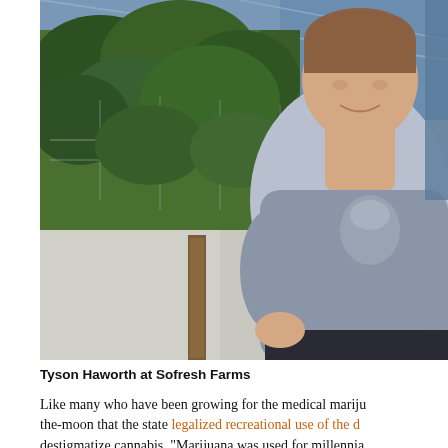[Figure (photo): A man (Tyson Haworth) smiling and crouching inside a greenhouse cannabis grow facility. Green cannabis plants on a trellis net are visible behind him. He is wearing a grey graphic t-shirt and dark jeans. The greenhouse has a blue-tinted ceiling and bright lighting.]
Tyson Haworth at Sofresh Farms
Like many who have been growing for the medical mariju the-moon that the state legalized recreational use of the d destigmatize cannabis. "Marijuana was used for millennia in the same way that the store front medical became...